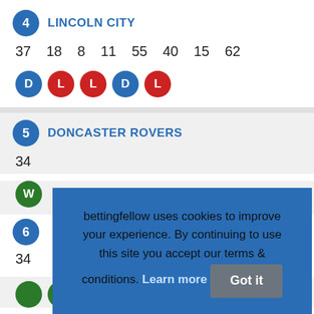4 LINCOLN CITY
37 18 8 11 55 40 15 62
D L L D L
5 DONCASTER ROVERS
34
W
bettingfellow uses cookies to improve your experience. By continuing to use this site you accept our terms & conditions. Learn more Got it
6
34